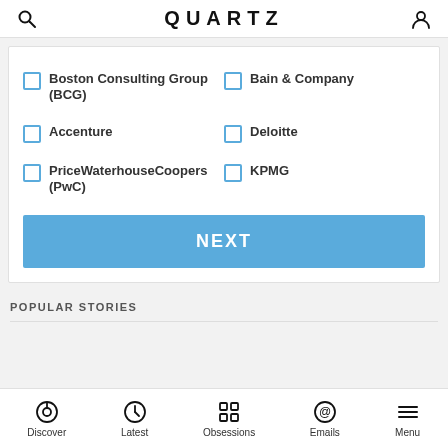QUARTZ
Boston Consulting Group (BCG)
Bain & Company
Accenture
Deloitte
PriceWaterhouseCoopers (PwC)
KPMG
NEXT
POPULAR STORIES
Discover | Latest | Obsessions | Emails | Menu